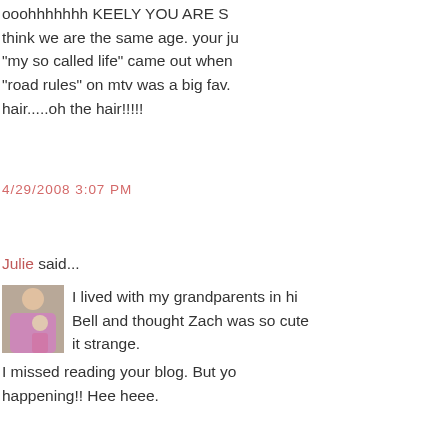ooohhhhhh KEELY YOU ARE S... think we are the same age. your ju... "my so called life" came out when... "road rules" on mtv was a big fav... hair.....oh the hair!!!!!
4/29/2008 3:07 PM
Julie said...
I lived with my grandparents in hi... Bell and thought Zach was so cute... it strange.
I missed reading your blog. But yo... happening!! Hee heee.
My sister will be 35 in May!!
I feel my age every time I'm with... longer I will be the cool aunt.
4/29/2008 3:07 PM